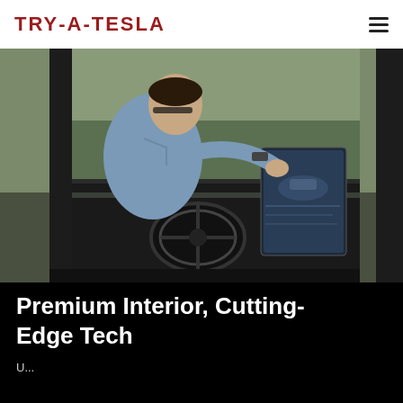TRY-A-TESLA
[Figure (photo): A person sitting in the driver's seat of a Tesla vehicle, reaching toward the large central touchscreen display showing a car overview graphic. The driver is wearing a light blue shirt and a watch. The interior shows the minimalist Tesla dashboard with a large steering wheel.]
Premium Interior, Cutting-Edge Tech
...